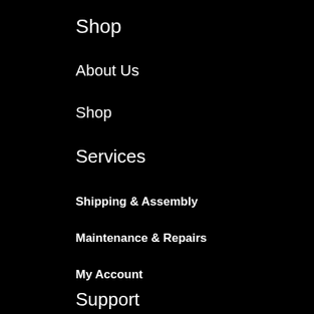Shop
About Us
Shop
Services
Shipping & Assembly
Maintenance & Repairs
My Account
Support